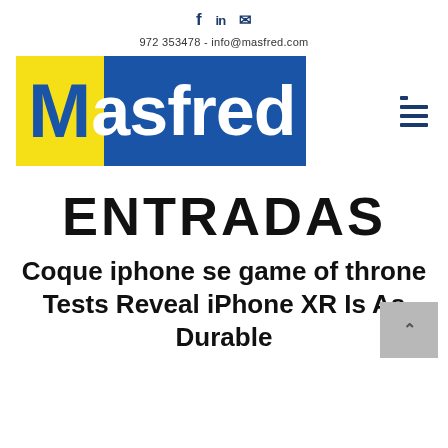f  in  ✉
972 353478 - info@masfred.com
[Figure (logo): Masfred logo with yellow and blue background, white text reading 'Masfred']
ENTRADAS
Coque iphone se game of throne Tests Reveal iPhone XR Is As Durable As iPhone XS and XS Max